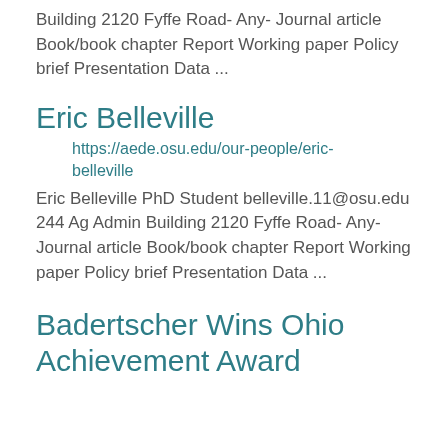Building 2120 Fyffe Road- Any- Journal article Book/book chapter Report Working paper Policy brief Presentation Data ...
Eric Belleville
https://aede.osu.edu/our-people/eric-belleville Eric Belleville PhD Student belleville.11@osu.edu 244 Ag Admin Building 2120 Fyffe Road- Any- Journal article Book/book chapter Report Working paper Policy brief Presentation Data ...
Badertscher Wins Ohio Achievement Award